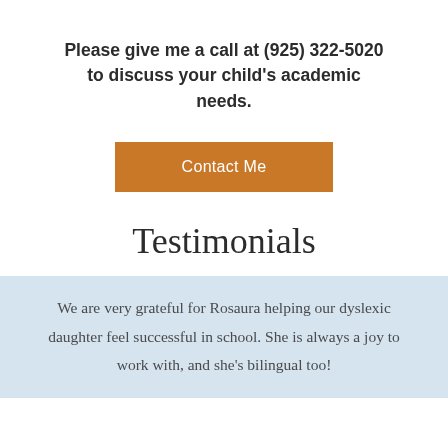Please give me a call at (925) 322-5020 to discuss your child's academic needs.
[Figure (other): Orange contact me button]
Testimonials
We are very grateful for Rosaura helping our dyslexic daughter feel successful in school. She is always a joy to work with, and she's bilingual too!